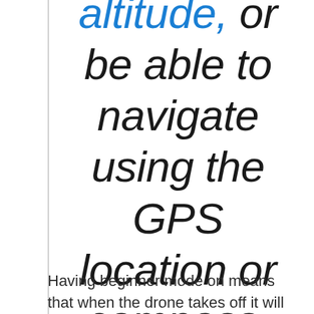altitude, or be able to navigate using the GPS location or compass.
Having beginner mode on means that when the drone takes off it will